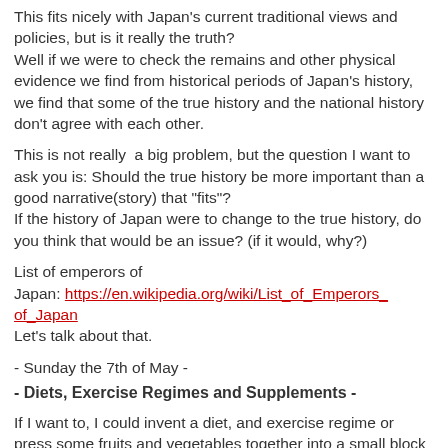This fits nicely with Japan's current traditional views and policies, but is it really the truth?
Well if we were to check the remains and other physical evidence we find from historical periods of Japan's history, we find that some of the true history and the national history don't agree with each other.
This is not really  a big problem, but the question I want to ask you is: Should the true history be more important than a good narrative(story) that "fits"?
If the history of Japan were to change to the true history, do you think that would be an issue? (if it would, why?)
List of emperors of Japan: https://en.wikipedia.org/wiki/List_of_Emperors_of_Japan
Let's talk about that.
- Sunday the 7th of May -
- Diets, Exercise Regimes and Supplements -
If I want to, I could invent a diet, and exercise regime or press some fruits and vegetables together into a small block and market them freely.